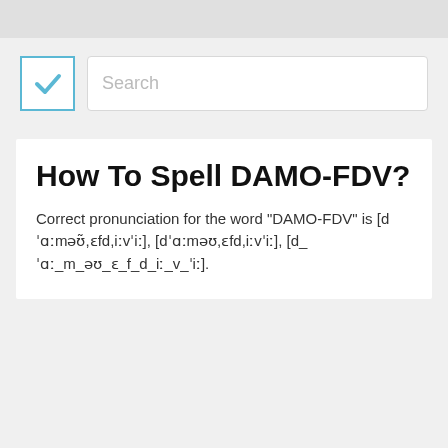[Figure (screenshot): Checkbox button with blue checkmark and search input field with placeholder text 'Search']
How To Spell DAMO-FDV?
Correct pronunciation for the word "DAMO-FDV" is [dˈɑːməʊ̃,ɛfd,iːvˈiː], [dˈɑːməʊ,ɛfd,iːvˈiː], [d_ˈɑː_m_əʊ_ɛ_f_d_iː_v_ˈiː].